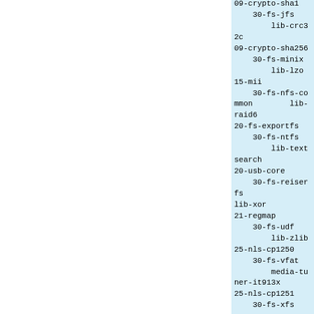09-crypto-sha1
    30-fs-jfs
        lib-crc32c
09-crypto-sha256
    30-fs-minix
        lib-lzo
15-mii
    30-fs-nfs-common        lib-raid6
20-fs-exportfs
    30-fs-ntfs
        lib-textsearch
20-usb-core
    30-fs-reiserfs
lib-xor
21-regmap
    30-fs-udf
        lib-zlib
25-nls-cp1250
    30-fs-vfat
        media-tuner-it913x
25-nls-cp1251
    30-fs-xfs